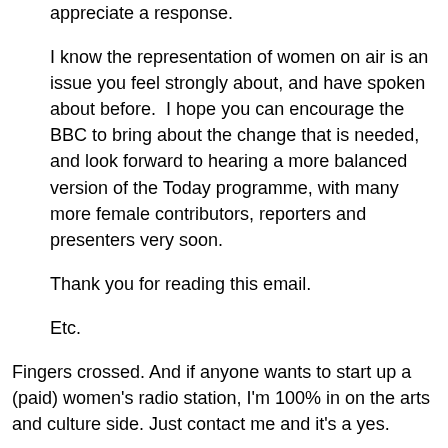appreciate a response.
I know the representation of women on air is an issue you feel strongly about, and have spoken about before.  I hope you can encourage the BBC to bring about the change that is needed, and look forward to hearing a more balanced version of the Today programme, with many more female contributors, reporters and presenters very soon.
Thank you for reading this email.
Etc.
Fingers crossed. And if anyone wants to start up a (paid) women's radio station, I'm 100% in on the arts and culture side. Just contact me and it's a yes.
UPDATED at the end of the working day on Wednesday 21st December 2011: After the enormous reaction created by Kira Cochrane's article, which has (my sources tell me) prompted fervent debate in many major arts and cultural institutions